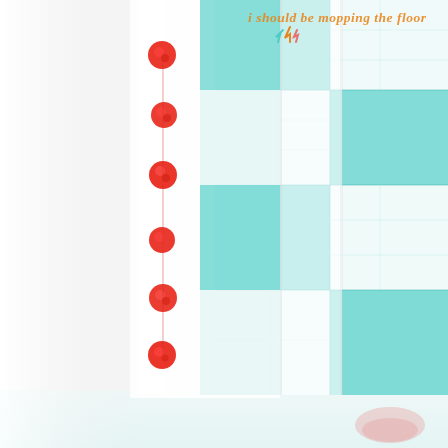[Figure (photo): Close-up photo of a teal/aqua buffalo check (gingham) curtain panel with red pom-pom trim along the left edge. The curtain hangs near a bright window. The background is white/light. A watermark text 'i should be mopping the floor' with a small decorative arrow/feather logo appears in the upper right corner in orange script.]